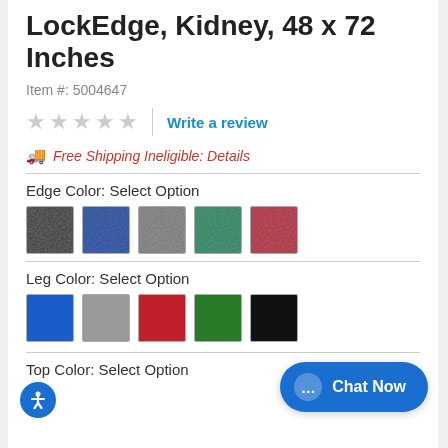LockEdge, Kidney, 48 x 72 Inches
Item #: 5004647
★★★★★ | Write a review
🚚 Free Shipping Ineligible: Details
Edge Color: Select Option
[Figure (other): Five edge color swatches: black textured, blue textured, gray textured, green textured, red textured]
Leg Color: Select Option
[Figure (other): Five leg color swatches: blue, gray, red, green, black]
Top Color: Select Option